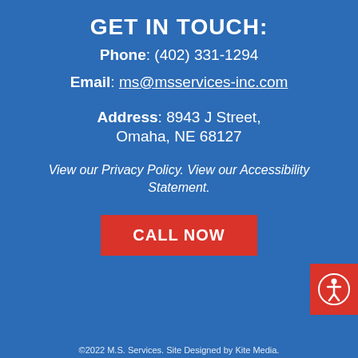GET IN TOUCH:
Phone: (402) 331-1294
Email: ms@msservices-inc.com
Address: 8943 J Street, Omaha, NE 68127
View our Privacy Policy. View our Accessibility Statement.
CALL NOW
©2022 M.S. Services. Site Designed by Kite Media.